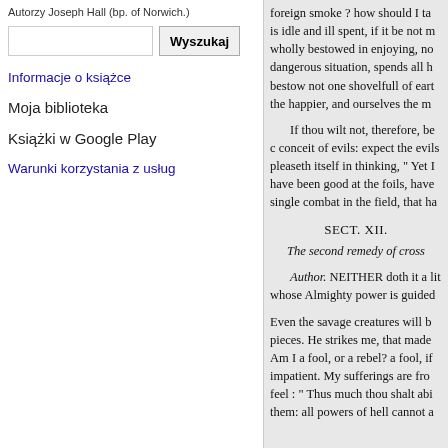Autorzy Joseph Hall (bp. of Norwich.)
Wyszukaj [search box with button]
Informacje o książce
Moja biblioteka
Książki w Google Play
Warunki korzystania z usług
foreign smoke ? how should I ta is idle and ill spent, if it be not m wholly bestowed in enjoying, no dangerous situation, spends all h bestow not one shovelfull of eart the happier, and ourselves the m
If thou wilt not, therefore, be c conceit of evils: expect the evils pleaseth itself in thinking, " Yet I have been good at the foils, have single combat in the field, that ha
SECT. XII.
The second remedy of cross
Author. NEITHER doth it a lit whose Almighty power is guided
Even the savage creatures will b pieces. He strikes me, that made Am I a fool, or a rebel? a fool, if impatient. My sufferings are fro feel : " Thus much thou shalt abi them: all powers of hell cannot a